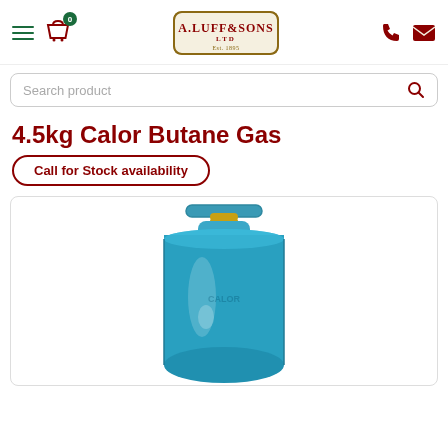[Figure (screenshot): Website header with hamburger menu, basket icon with badge showing 0, A.Luff & Sons Ltd logo, phone icon and envelope icon]
[Figure (screenshot): Search product input bar with search icon]
4.5kg Calor Butane Gas
Call for Stock availability
[Figure (photo): Blue Calor butane gas cylinder with gold valve on top, partially cropped at bottom]